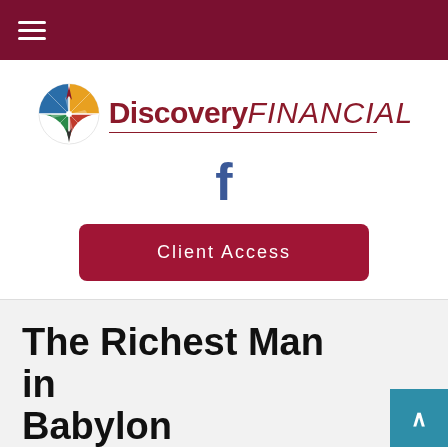Discovery Financial — navigation header bar
[Figure (logo): Discovery Financial logo with compass rose icon and text 'Discovery' in bold dark red and 'FINANCIAL' in italic dark red]
[Figure (other): Facebook social media icon (f) in blue]
Client Access
The Richest Man in Babylon